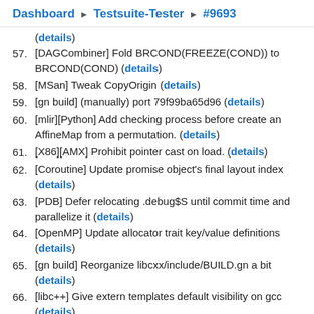Dashboard ▶ Testsuite-Tester ▶ #9693
(details) [truncated top]
57. [DAGCombiner] Fold BRCOND(FREEZE(COND)) to BRCOND(COND) (details)
58. [MSan] Tweak CopyOrigin (details)
59. [gn build] (manually) port 79f99ba65d96 (details)
60. [mlir][Python] Add checking process before create an AffineMap from a permutation. (details)
61. [X86][AMX] Prohibit pointer cast on load. (details)
62. [Coroutine] Update promise object's final layout index (details)
63. [PDB] Defer relocating .debug$S until commit time and parallelize it (details)
64. [OpenMP] Update allocator trait key/value definitions (details)
65. [gn build] Reorganize libcxx/include/BUILD.gn a bit (details)
66. [libc++] Give extern templates default visibility on gcc (details)
67. [OpenMP] Use persistent memory for omp_large_cap_mem (details)
68. [NFC] Use generic name for scalable vector stack ID.